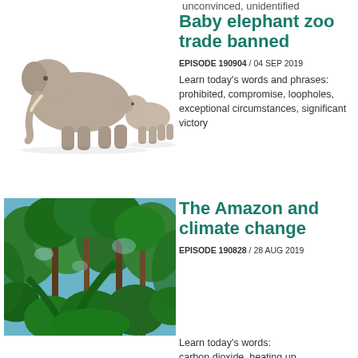unconvinced, unidentified
[Figure (photo): An adult elephant and a baby elephant walking together, with the baby touching the adult's tail with its trunk, on a white background.]
Baby elephant zoo trade banned
EPISODE 190904 / 04 SEP 2019
Learn today's words and phrases: prohibited, compromise, loopholes, exceptional circumstances, significant victory
[Figure (photo): Looking up through a dense tropical rainforest canopy with tall trees and bright green leaves against a blue sky.]
The Amazon and climate change
EPISODE 190828 / 28 AUG 2019
Learn today's words: carbon dioxide, heating up,